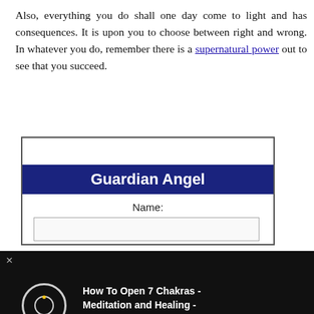Also, everything you do shall one day come to light and has consequences. It is upon you to choose between right and wrong. In whatever you do, remember there is a supernatural power out to see that you succeed.
[Figure (screenshot): Guardian Angel web form with dark blue header reading 'Guardian Angel', a Name field input, a Date of Birth row with January dropdown and 1 dropdown, an advertisement label, and a video overlay showing 'How To Open 7 Chakras - Meditation and Healing - SunSigns.Org' on a black background, plus a 'Hold and Move' banner ad at the bottom.]